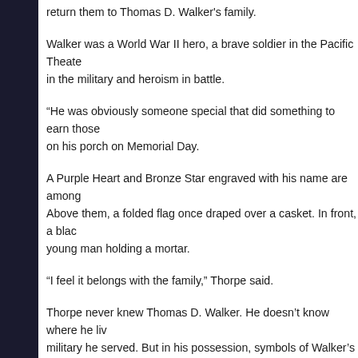return them to Thomas D. Walker's family.
Walker was a World War II hero, a brave soldier in the Pacific Theate... in the military and heroism in battle.
“He was obviously someone special that did something to earn those... on his porch on Memorial Day.
A Purple Heart and Bronze Star engraved with his name are among... Above them, a folded flag once draped over a casket. In front, a bla... young man holding a mortar.
“I feel it belongs with the family,” Thorpe said.
Thorpe never knew Thomas D. Walker. He doesn’t know where he li... military he served. But in his possession, symbols of Walker’s courag...
“I can’t imagine this isn’t missed,” Thorpe said. “Somebody knows th...
It was found dirty and forgotten, in the back of the closet of a 31st St... friend discovered it and gave it to him last summer.
The grandson of two WWII veterans contacted the US military and s...